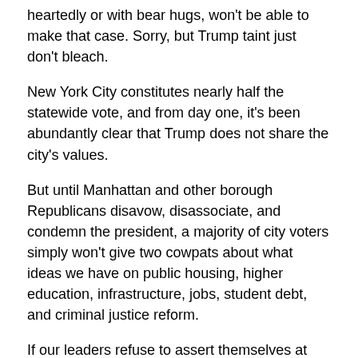heartedly or with bear hugs, won't be able to make that case. Sorry, but Trump taint just don't bleach.
New York City constitutes nearly half the statewide vote, and from day one, it's been abundantly clear that Trump does not share the city's values.
But until Manhattan and other borough Republicans disavow, disassociate, and condemn the president, a majority of city voters simply won't give two cowpats about what ideas we have on public housing, higher education, infrastructure, jobs, student debt, and criminal justice reform.
If our leaders refuse to assert themselves at the grassroots level – or worse yet, co-opt the alt-right message, then the GOP in the Empire State is doomed.
We need our County Chairs and State Party officers to lead, to communicate to young people and veteran